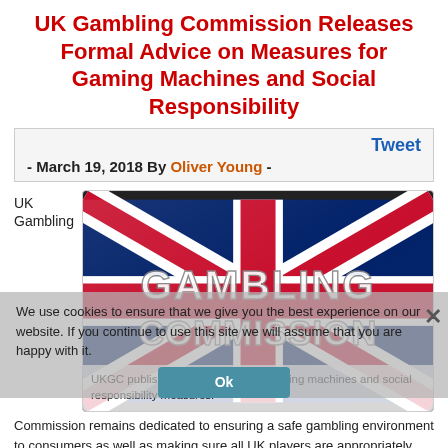UK Gambling Commission Releases Formal Advice on Measures for Gaming Machines and Social Responsibility
Tweet
- March 19, 2018 By Oliver Young -
UK Gambling
[Figure (photo): UK flag (Union Jack) with 'GAMBLING COMMISSION' text overlaid]
UKGC publishes formal advice on gaming machines and social responsibility measures.
We use cookies to ensure that we give you the best experience on our website. If you continue to use this site we will assume that you are happy with it.
Ok
Commission remains dedicated to ensuring a safe gambling environment to consumers as well as making sure all UK players are appropriately protected.